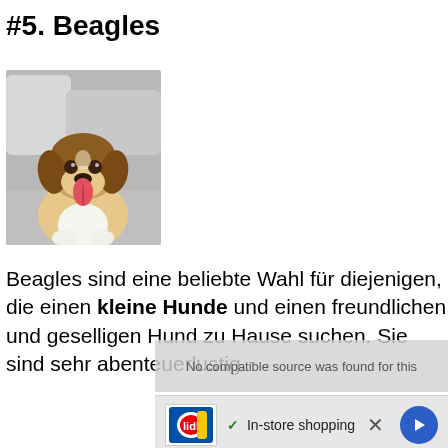#5. Beagles
[Figure (photo): A beagle puppy sitting on a gray couch, looking at the camera with its tongue out]
Beagles sind eine beliebte Wahl für diejenigen, die einen kleine Hunde und einen freundlichen und geselligen Hund zu Hause suchen. Sie sind sehr abenteuerlustig
[Figure (screenshot): Video player overlay showing 'No compatible source was found for this' error message, and an advertisement overlay showing Lidl logo with 'In-store shopping' text and navigation arrow button]